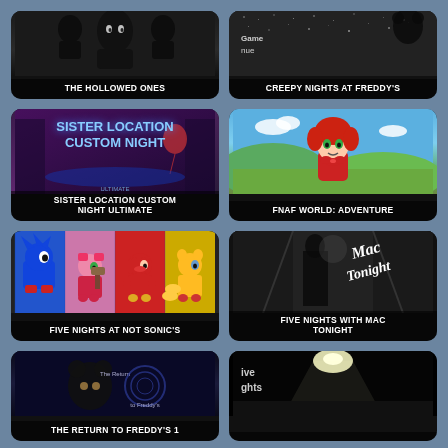[Figure (screenshot): The Hollowed Ones game thumbnail - dark horror game with silhouettes]
THE HOLLOWED ONES
[Figure (screenshot): Creepy Nights at Freddy's game thumbnail - static/noise screen with menu text]
CREEPY NIGHTS AT FREDDY'S
[Figure (screenshot): Sister Location Custom Night Ultimate thumbnail - purple/dark background with game logo text]
SISTER LOCATION CUSTOM NIGHT ULTIMATE
[Figure (screenshot): FNAF World Adventure thumbnail - cartoon girl character with red hair in outdoor scene]
FNAF WORLD: ADVENTURE
[Figure (screenshot): Five Nights at Not Sonic's thumbnail - pixel art of Sonic characters on colored backgrounds]
FIVE NIGHTS AT NOT SONIC'S
[Figure (screenshot): Five Nights with Mac Tonight thumbnail - dark hallway scene with Mac Tonight logo]
FIVE NIGHTS WITH MAC TONIGHT
[Figure (screenshot): The Return to Freddy's 1 thumbnail - dark scene with Freddy logo]
THE RETURN TO FREDDY'S 1
[Figure (screenshot): Unknown game thumbnail - dark scene with ceiling light and partial text]